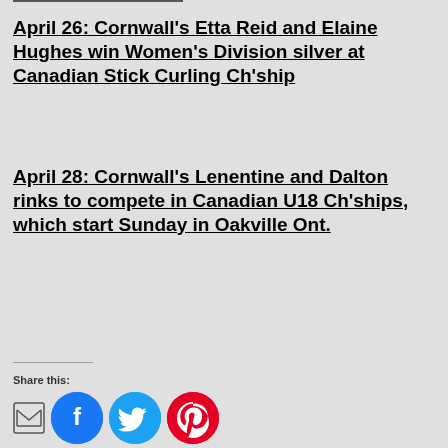April 26: Cornwall's Etta Reid and Elaine Hughes win Women's Division silver at Canadian Stick Curling Ch'ship
April 28: Cornwall's Lenentine and Dalton rinks to compete in Canadian U18 Ch'ships, which start Sunday in Oakville Ont.
Share this: